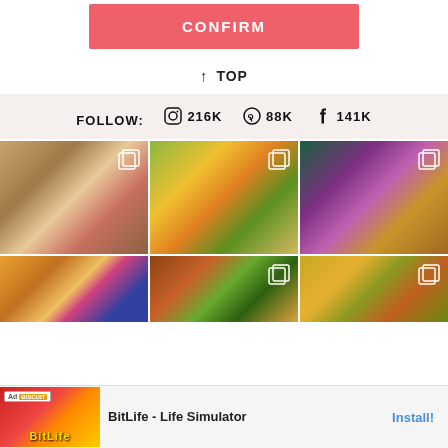[Figure (screenshot): Pink CONFIRM button at top]
↑ TOP
FOLLOW: 216K  88K  141K
[Figure (photo): Grid of 6 food photos: raspberry cookie, vegetable salad bowl, purple ice cream cone, pancake with berries, grilled vegetables, corn vegetable dish]
[Figure (photo): Ad banner: BitLife - Life Simulator with Install button]